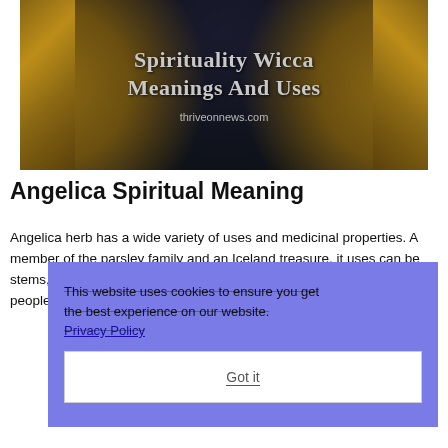[Figure (screenshot): Dark-themed banner image with ornamental golden decorations on left and right sides, showing text 'Spirituality Wicca Meanings And Uses' in grey serif font, with 'thriveonnews.com' at the bottom center. A person's face is partially visible at the top.]
Angelica Spiritual Meaning
Angelica herb has a wide variety of uses and medicinal properties. A member of the parsley family and an Iceland treasure, it uses can be stems, oil and pickled and eaten and is a favourite of the Scandinavia people.
This website uses cookies to ensure you get the best experience on our website. Privacy Policy Got it